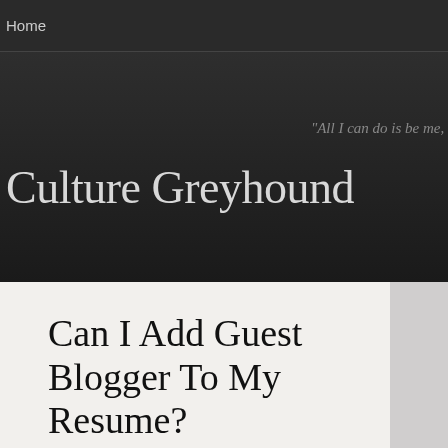Home
Culture Greyhound
"All I can do is be me, w
Can I Add Guest Blogger To My Resume?